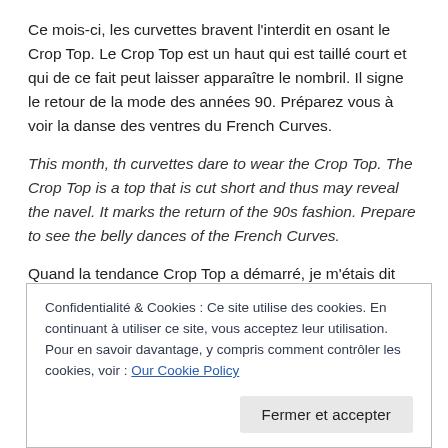Ce mois-ci, les curvettes bravent l'interdit en osant le Crop Top. Le Crop Top est un haut qui est taillé court et qui de ce fait peut laisser apparaître le nombril. Il signe le retour de la mode des années 90. Préparez vous à voir la danse des ventres du French Curves.
This month, th curvettes dare to wear the Crop Top. The Crop Top is a top that is cut short and thus may reveal the navel. It marks the return of the 90s fashion. Prepare to see the belly dances of the French Curves.
Quand la tendance Crop Top a démarré, je m'étais dit que j'allais passer mon tour. L'un de mes principaux objectifs
Confidentialité & Cookies : Ce site utilise des cookies. En continuant à utiliser ce site, vous acceptez leur utilisation.
Pour en savoir davantage, y compris comment contrôler les cookies, voir : Our Cookie Policy
Fermer et accepter